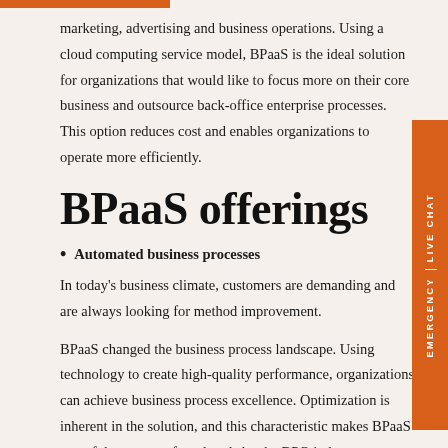marketing, advertising and business operations. Using a cloud computing service model, BPaaS is the ideal solution for organizations that would like to focus more on their core business and outsource back-office enterprise processes. This option reduces cost and enables organizations to operate more efficiently.
BPaaS offerings
Automated business processes
In today's business climate, customers are demanding and are always looking for method improvement.
BPaaS changed the business process landscape. Using technology to create high-quality performance, organizations can achieve business process excellence. Optimization is inherent in the solution, and this characteristic makes BPaaS one of the most preferred tools by the BPO industry.